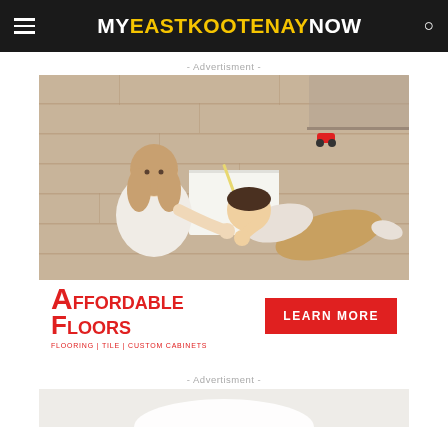MY EAST KOOTENAY NOW
- Advertisment -
[Figure (photo): Overhead view of two children lying on a hardwood floor, writing/drawing on paper. One child wearing white, the other in tan/mustard pants.]
[Figure (logo): Affordable Floors logo — large red stylized A and F with 'FFORDABLE FLOORS' text and tagline 'Flooring | Tile | Custom Cabinets', plus a red 'LEARN MORE' button]
- Advertisment -
[Figure (other): Partial view of a second advertisement — light grey/beige background with curved shape visible at bottom of page]